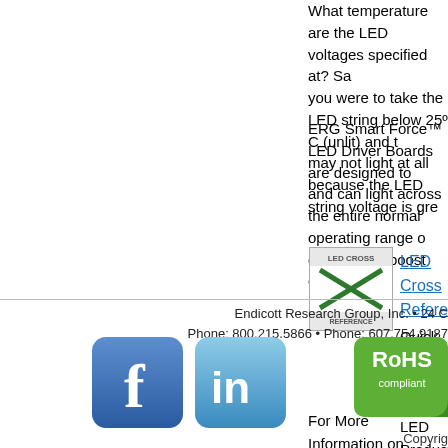What temperature are the LED voltages specified at? Say you were to take the LED string below 25º C (unlit) and the may not light at all because the LED string voltage is gre...
ERG Smart Force™ LED Driver Boards are designed to and can light across the entire normal operating range o designing a boost circuit.
[Figure (logo): LED Cross Reference logo - green X graphic with 'LED CROSS REFERENCE' text]
LED Cross Reference
Quick Access to ERG's LED Product Offerings
For More Information on Smart Force™ LED Solutions:
Call ERG at 800-215-5866 or 607-754-9187 or E-mail us
Endicott Research Group, Inc. • 24 C
Phone: 800.215.5866 • Phone: 607.754.9187
[Figure (logo): Facebook logo icon]
[Figure (logo): LinkedIn logo icon]
[Figure (logo): RoHS Compliant badge]
Copyrigh